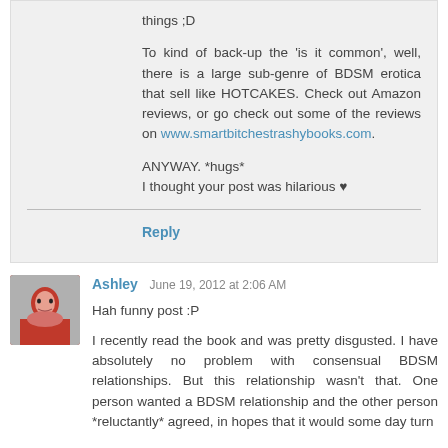things ;D

To kind of back-up the 'is it common', well, there is a large sub-genre of BDSM erotica that sell like HOTCAKES. Check out Amazon reviews, or go check out some of the reviews on www.smartbitchestrashybooks.com.

ANYWAY. *hugs*
I thought your post was hilarious ♥
Reply
Ashley  June 19, 2012 at 2:06 AM
Hah funny post :P

I recently read the book and was pretty disgusted. I have absolutely no problem with consensual BDSM relationships. But this relationship wasn't that. One person wanted a BDSM relationship and the other person *reluctantly* agreed, in hopes that it would some day turn